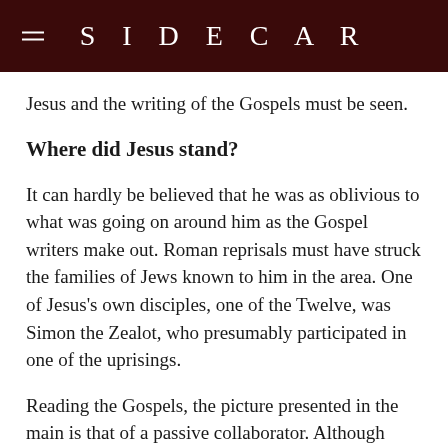SIDECAR
Jesus and the writing of the Gospels must be seen.
Where did Jesus stand?
It can hardly be believed that he was as oblivious to what was going on around him as the Gospel writers make out. Roman reprisals must have struck the families of Jews known to him in the area. One of Jesus's own disciples, one of the Twelve, was Simon the Zealot, who presumably participated in one of the uprisings.
Reading the Gospels, the picture presented in the main is that of a passive collaborator. Although Jesus